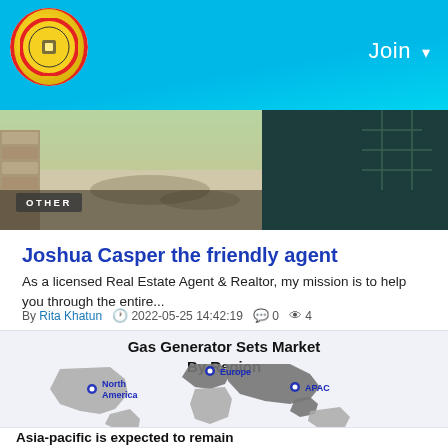Join
[Figure (photo): Hero banner image with outdoor/patio scene on left and dark teal background with grid lines on right, with OTHER badge overlay]
Joshua Casper the friendly agent
As a licensed Real Estate Agent & Realtor, my mission is to help you through the entire...
By Rita Khatun  2022-05-25 14:42:19  0  4
[Figure (map): World map showing Gas Generator Sets Market By Region with pins for North America, Europe, and APAC regions]
Asia-pacific is expected to remain